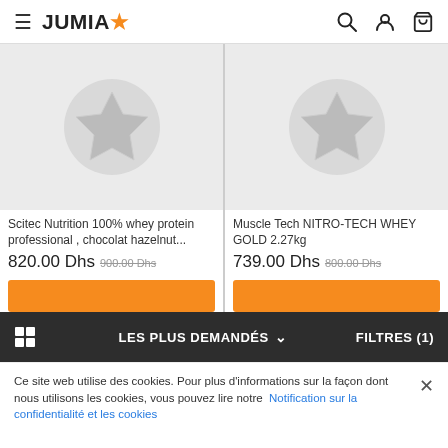JUMIA (logo with star icon) — navigation header with hamburger menu, search, account, cart icons
[Figure (screenshot): Product card: Scitec Nutrition 100% whey protein professional, chocolat hazelnut... — placeholder image with star icon on grey background]
Scitec Nutrition 100% whey protein professional , chocolat hazelnut...
820.00 Dhs 900.00 Dhs
[Figure (screenshot): Product card: Muscle Tech NITRO-TECH WHEY GOLD 2.27kg — placeholder image with star icon on grey background]
Muscle Tech NITRO-TECH WHEY GOLD 2.27kg
739.00 Dhs 800.00 Dhs
LES PLUS DEMANDÉS ∨   FILTRES (1)
Ce site web utilise des cookies. Pour plus d'informations sur la façon dont nous utilisons les cookies, vous pouvez lire notre Notification sur la confidentialité et les cookies